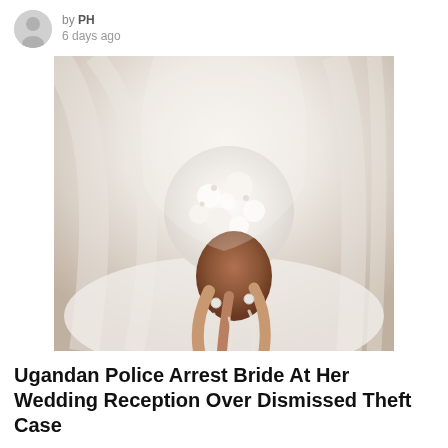by PH
6 days ago
[Figure (photo): A bride in a white wedding dress and veil holding a white floral bouquet, viewed from above/side angle]
Ugandan Police Arrest Bride At Her Wedding Reception Over Dismissed Theft Case
by PH
8 days ago
[Figure (photo): Partial view of a person's head/face, cropped at bottom of page]